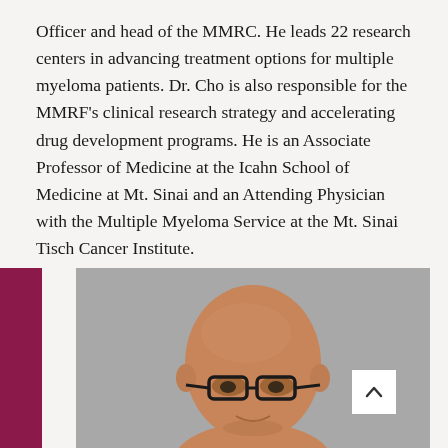Officer and head of the MMRC. He leads 22 research centers in advancing treatment options for multiple myeloma patients. Dr. Cho is also responsible for the MMRF's clinical research strategy and accelerating drug development programs. He is an Associate Professor of Medicine at the Icahn School of Medicine at Mt. Sinai and an Attending Physician with the Multiple Myeloma Service at the Mt. Sinai Tisch Cancer Institute.
[Figure (photo): Headshot photo of a bald man wearing dark-framed glasses, photographed against a gray background. A dark maroon vertical bar appears on the left side of the image frame.]